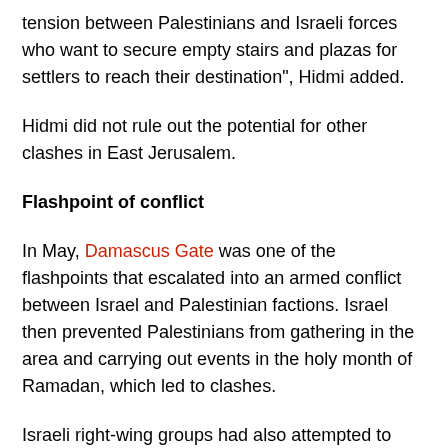tension between Palestinians and Israeli forces who want to secure empty stairs and plazas for settlers to reach their destination", Hidmi added.
Hidmi did not rule out the potential for other clashes in East Jerusalem.
Flashpoint of conflict
In May, Damascus Gate was one of the flashpoints that escalated into an armed conflict between Israel and Palestinian factions. Israel then prevented Palestinians from gathering in the area and carrying out events in the holy month of Ramadan, which led to clashes.
Israeli right-wing groups had also attempted to march in May through Damascus Gate, carrying hundreds of Israeli flags.